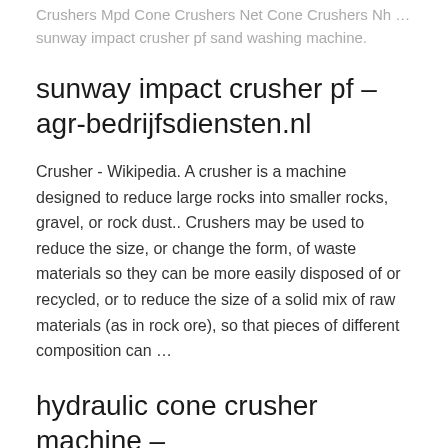Crushers Mpd Cone Crushers Net Cone Crushers Nh … sunway impact crusher pf sand washing machine.
sunway impact crusher pf - agr-bedrijfsdiensten.nl
Crusher - Wikipedia. A crusher is a machine designed to reduce large rocks into smaller rocks, gravel, or rock dust.. Crushers may be used to reduce the size, or change the form, of waste materials so they can be more easily disposed of or recycled, or to reduce the size of a solid mix of raw materials (as in rock ore), so that pieces of different composition can …
hydraulic cone crusher machine - YouTube